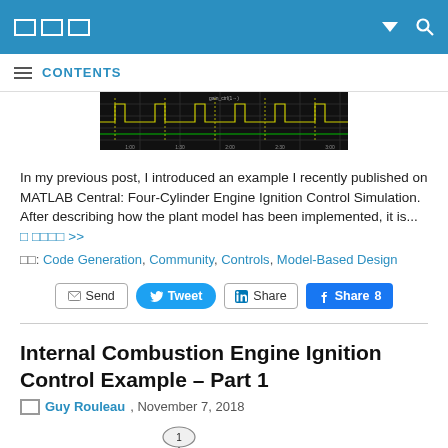□□□  ▼  🔍
≡ CONTENTS
[Figure (screenshot): Dark oscilloscope-style chart with yellow and green waveform lines on black background, showing signal measurements over time]
In my previous post, I introduced an example I recently published on MATLAB Central: Four-Cylinder Engine Ignition Control Simulation.
After describing how the plant model has been implemented, it is... □ □□□□ >>
□□: Code Generation, Community, Controls, Model-Based Design
Send  Tweet  Share  Share 8
Internal Combustion Engine Ignition Control Example – Part 1
□□ Guy Rouleau, November 7, 2018
[Figure (engineering-diagram): Partial view of a Simulink block diagram showing a block labeled 'Br' with input 1 and output 0]